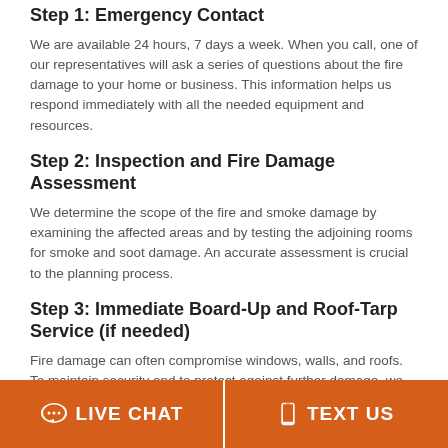Step 1: Emergency Contact
We are available 24 hours, 7 days a week. When you call, one of our representatives will ask a series of questions about the fire damage to your home or business. This information helps us respond immediately with all the needed equipment and resources.
Step 2: Inspection and Fire Damage Assessment
We determine the scope of the fire and smoke damage by examining the affected areas and by testing the adjoining rooms for smoke and soot damage. An accurate assessment is crucial to the planning process.
Step 3: Immediate Board-Up and Roof-Tarp Service (if needed)
Fire damage can often compromise windows, walls, and roofs. To maintain security and to protect against further damage, we can board up missing windows and walls and
[Figure (infographic): Orange footer bar with two buttons: LIVE CHAT (with speech bubble icon) and TEXT US (with phone icon)]